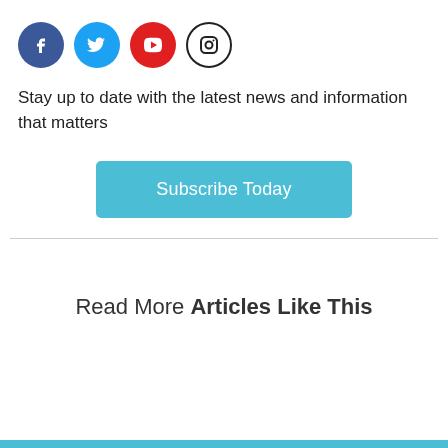[Figure (illustration): Four social media icon circles: Facebook (blue), Twitter (light blue), YouTube (red), Instagram (black outline on white)]
Stay up to date with the latest news and information that matters
[Figure (other): Subscribe Today button (teal/light blue rounded rectangle)]
Read More Articles Like This